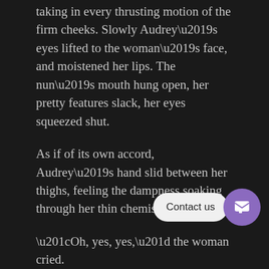taking in every thrusting motion of the firm cheeks. Slowly Audrey’s eyes lifted to the woman’s face, and moistened her lips. The nun’s mouth hung open, her pretty features slack, her eyes squeezed shut.
As if of its own accord, Audrey’s hand slid between her thighs, feeling the dampness soaking through her thin chemise.
“Oh, yes, yes,” the woman cried.
The words seemed to break the spell that held Audrey entranced, and she stumbled blindly back into her cell on trembling legs. She crossed to her pallet and dragged her sheets over her, the image of the lovers’ embrace burned in her memory. She lay gazing off into space for what seemed an eternity, her mouth dry, her heart racing. She’s going to lose her religion, she could…